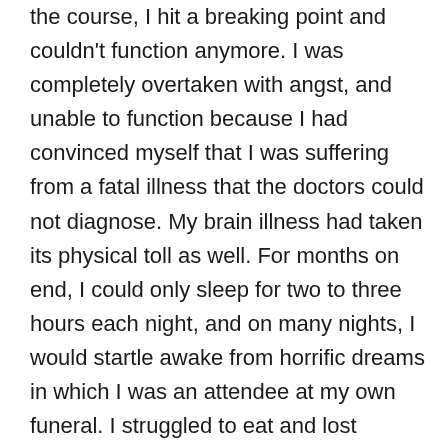the course, I hit a breaking point and couldn't function anymore. I was completely overtaken with angst, and unable to function because I had convinced myself that I was suffering from a fatal illness that the doctors could not diagnose. My brain illness had taken its physical toll as well. For months on end, I could only sleep for two to three hours each night, and on many nights, I would startle awake from horrific dreams in which I was an attendee at my own funeral. I struggled to eat and lost weight unintentionally. I felt constantly weak and struggled to maintain my sanity.
I didn't understand how to help my Dad; but I also didn't understand how to help myself.